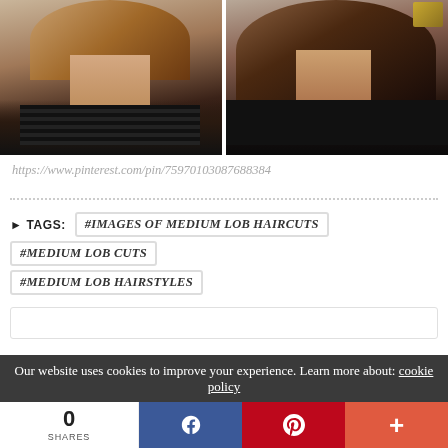[Figure (photo): Two side-by-side photos of women with medium lob hairstyles, both wearing black tops. Left image shows a woman with lighter brown/auburn hair, right shows a woman with darker brown hair.]
https://www.pinterest.com/pin/75970103087688384
#IMAGES OF MEDIUM LOB HAIRCUTS
#MEDIUM LOB CUTS
#MEDIUM LOB HAIRSTYLES
Our website uses cookies to improve your experience. Learn more about: cookie policy
0 SHARES